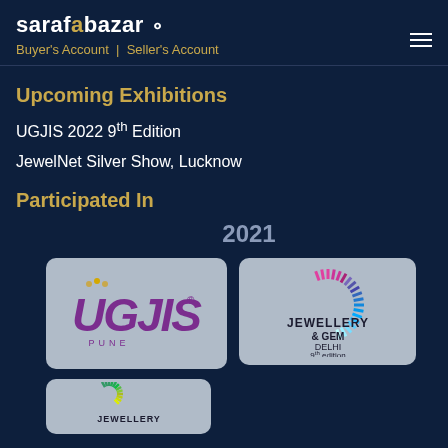sarafabazar | Buyer's Account | Seller's Account
Upcoming Exhibitions
UGJIS 2022 9th Edition
JewelNet Silver Show, Lucknow
Participated In
2021
[Figure (logo): UGJIS Pune logo - purple italic text with decorative element]
[Figure (logo): Jewellery & Gem Delhi 9th edition logo with starburst rays]
[Figure (logo): Jewellery gem show logo partially visible at bottom]